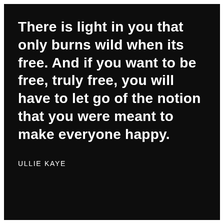There is light in you that only burns wild when its free. And if you want to be free, truly free, you will have to let go of the notion that you were meant to make everyone happy.
ULLIE KAYE